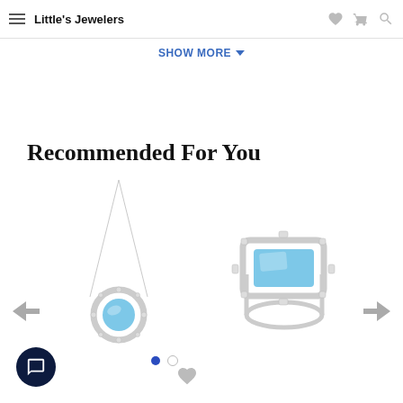Little's Jewelers
SHOW MORE
Recommended For You
[Figure (photo): Silver necklace with a round blue topaz and diamond halo pendant]
[Figure (photo): Silver ring with a rectangular blue topaz surrounded by diamond halo]
[Figure (other): Chat button icon (dark navy circle with speech bubble)]